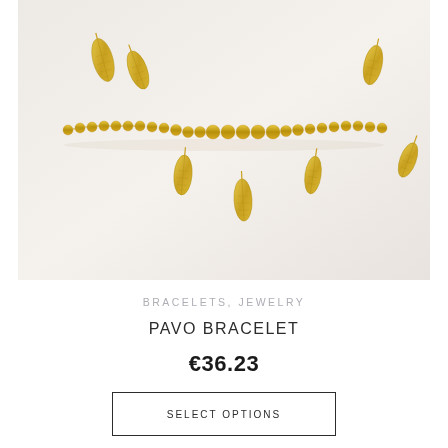[Figure (photo): Close-up photo of a gold bracelet with leaf/feather charms hanging from a gold chain, displayed on a white/cream fabric background.]
BRACELETS, JEWELRY
PAVO BRACELET
€36.23
SELECT OPTIONS